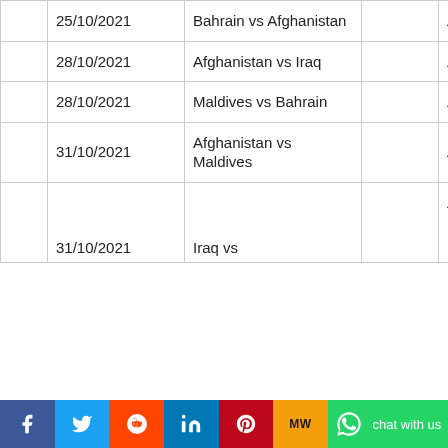|  | Date | Match |  | Venue |
| --- | --- | --- | --- | --- |
|  | 25/10/2021 | Bahrain vs Afghanistan |  | Al Muharraq Arad |
|  | 28/10/2021 | Afghanistan vs Iraq |  | Al Muharraq Arad |
|  | 28/10/2021 | Maldives vs Bahrain |  | Al Muharraq Arad |
|  | 31/10/2021 | Afghanistan vs Maldives |  | Al Muharraq Arad |
|  | 31/10/2021 | Iraq vs ... |  | Al Muharraq ... |